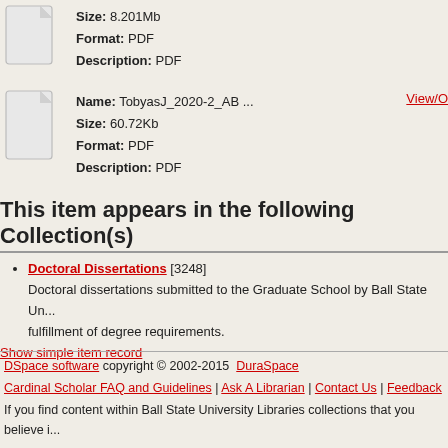[Figure (illustration): Generic file/document icon (grey)]
Size: 8.201Mb
Format: PDF
Description: PDF
[Figure (illustration): Generic file/document icon (grey)]
Name: TobyasJ_2020-2_AB ...
Size: 60.72Kb
Format: PDF
Description: PDF
View/O
This item appears in the following Collection(s)
Doctoral Dissertations [3248]
Doctoral dissertations submitted to the Graduate School by Ball State Un... fulfillment of degree requirements.
Show simple item record
DSpace software copyright © 2002-2015  DuraSpace
Cardinal Scholar FAQ and Guidelines | Ask A Librarian | Contact Us | Feedback
If you find content within Ball State University Libraries collections that you believe i...